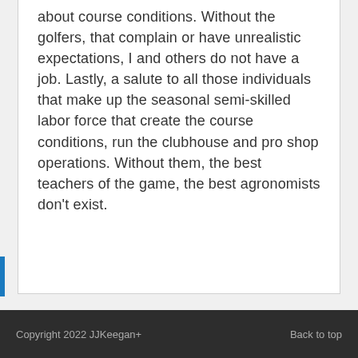about course conditions. Without the golfers, that complain or have unrealistic expectations, I and others do not have a job. Lastly, a salute to all those individuals that make up the seasonal semi-skilled labor force that create the course conditions, run the clubhouse and pro shop operations. Without them, the best teachers of the game, the best agronomists don't exist.
Copyright 2022 JJKeegan+    Back to top